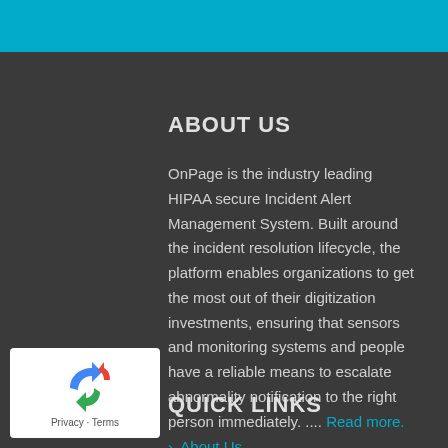ABOUT US
OnPage is the industry leading HIPAA secure Incident Alert Management System. Built around the incident resolution lifecycle, the platform enables organizations to get the most out of their digitization investments, ensuring that sensors and monitoring systems and people have a reliable means to escalate abnormality notification to the right person immediately. .... Read more.
QUICK LINKS
About Us
[Figure (logo): reCAPTCHA logo with Privacy and Terms text]